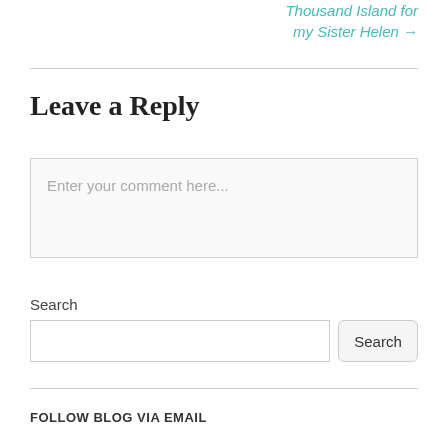Thousand Island for my Sister Helen →
Leave a Reply
Enter your comment here...
Search
Search
FOLLOW BLOG VIA EMAIL